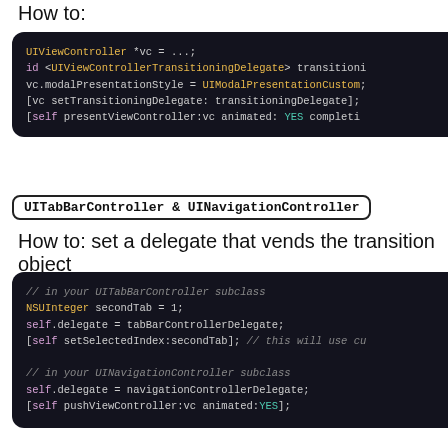How to:
[Figure (screenshot): Dark code block showing Objective-C code: UIViewController *vc = ...; id <UIViewControllerTransitioningDelegate> transitioningDelegate; vc.modalPresentationStyle = UIModalPresentationCustom; [vc setTransitioningDelegate: transitioningDelegate]; [self presentViewController:vc animated: YES completion...]
UITabBarController & UINavigationController
How to: set a delegate that vends the transition object
[Figure (screenshot): Dark code block showing Objective-C code: // in your UITabBarController subclass
NSUInteger secondTab = 1;
self.delegate = tabBarControllerDelegate;
[self setSelectedIndex:secondTab]; // this will use cu...

// in your UINavigationController subclass
self.delegate = navigationControllerDelegate;
[self pushViewController:vc animated:YES];]